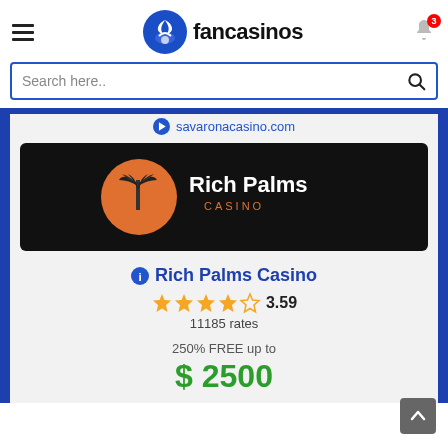fancasinos
Search here..
savaronacasino.com
[Figure (logo): Rich Palms Casino logo on black background — orange circle with palm tree silhouette, text 'Rich Palms' in white and 'CASINO' in orange below]
Rich Palms Casino
3.59
11185 rates
250% FREE up to
$ 2500